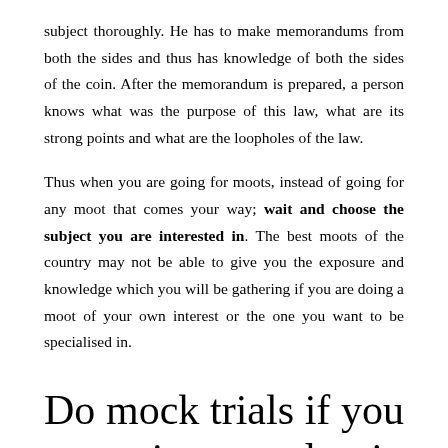subject thoroughly. He has to make memorandums from both the sides and thus has knowledge of both the sides of the coin. After the memorandum is prepared, a person knows what was the purpose of this law, what are its strong points and what are the loopholes of the law.
Thus when you are going for moots, instead of going for any moot that comes your way; wait and choose the subject you are interested in. The best moots of the country may not be able to give you the exposure and knowledge which you will be gathering if you are doing a moot of your own interest or the one you want to be specialised in.
Do mock trials if you are interested in criminal law and/or litigation